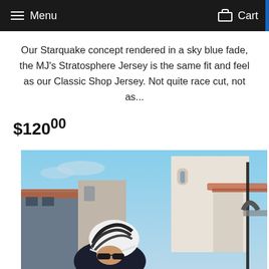Menu   Cart
Our Starquake concept rendered in a sky blue fade, the MJ's Stratosphere Jersey is the same fit and feel as our Classic Shop Jersey. Not quite race cut, not as...
$120.00
[Figure (photo): A cyclist wearing a white and black aerodynamic helmet and sunglasses, riding in front of Mediterranean-style buildings with terracotta roofs, shot from a low angle against a blue sky.]